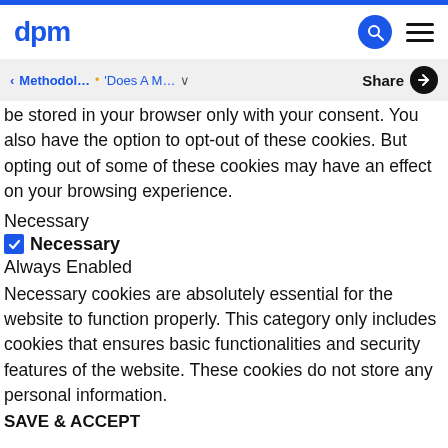dpm
‹ Methodol... • 'Does A M... ∨   Share
be stored in your browser only with your consent. You also have the option to opt-out of these cookies. But opting out of some of these cookies may have an effect on your browsing experience.
Necessary
☑ Necessary
Always Enabled
Necessary cookies are absolutely essential for the website to function properly. This category only includes cookies that ensures basic functionalities and security features of the website. These cookies do not store any personal information.
SAVE & ACCEPT